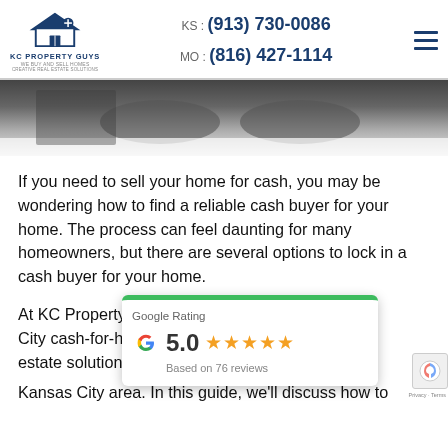KS : (913) 730-0086  MO : (816) 427-1114
[Figure (photo): Hero photo showing hands on a surface, blurred background, fades to white at bottom]
If you need to sell your home for cash, you may be wondering how to find a reliable cash buyer for your home. The process can feel daunting for many homeowners, but there are several options to lock in a cash buyer for your home.
At KC Property Guys, [partial] City cash-for-homes [partial] estate solutions to h[partial]
[Figure (other): Google Rating widget showing 5.0 stars based on 76 reviews]
Kansas City area. In this guide, we'll discuss how to